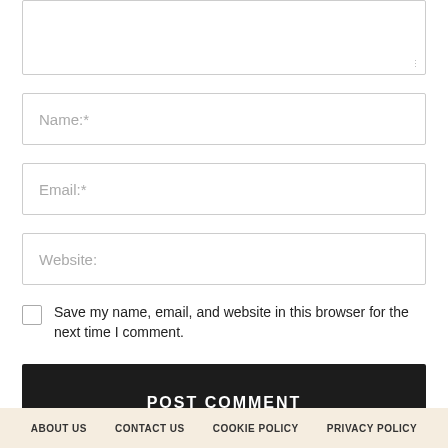[Figure (screenshot): Textarea input field (comment box) with resize handle at bottom right, partially visible at top of page]
Name:*
Email:*
Website:
Save my name, email, and website in this browser for the next time I comment.
POST COMMENT
ABOUT US   CONTACT US   COOKIE POLICY   PRIVACY POLICY